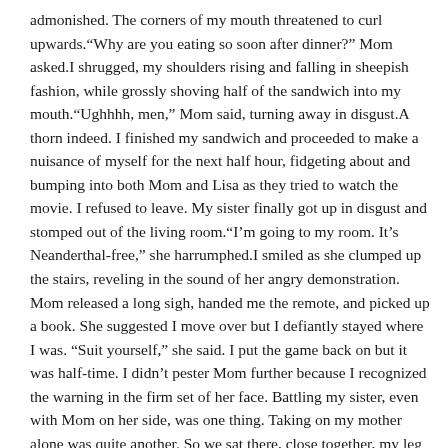admonished. The corners of my mouth threatened to curl upwards.“Why are you eating so soon after dinner?” Mom asked.I shrugged, my shoulders rising and falling in sheepish fashion, while grossly shoving half of the sandwich into my mouth.“Ughhhh, men,” Mom said, turning away in disgust.A thorn indeed. I finished my sandwich and proceeded to make a nuisance of myself for the next half hour, fidgeting about and bumping into both Mom and Lisa as they tried to watch the movie. I refused to leave. My sister finally got up in disgust and stomped out of the living room.“I’m going to my room. It’s Neanderthal-free,” she harrumphed.I smiled as she clumped up the stairs, reveling in the sound of her angry demonstration. Mom released a long sigh, handed me the remote, and picked up a book. She suggested I move over but I defiantly stayed where I was. “Suit yourself,” she said. I put the game back on but it was half-time. I didn’t pester Mom further because I recognized the warning in the firm set of her face. Battling my sister, even with Mom on her side, was one thing. Taking on my mother alone was quite another. So we sat there, close together, my leg rubbing against Mom’s, trying to make a